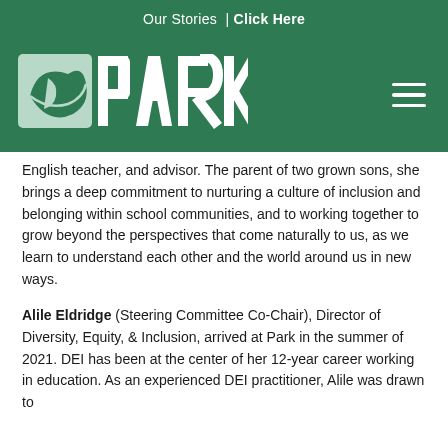Our Stories | Click Here
[Figure (logo): Park School logo — green background with stylized leaf/fish icon and PARK text in white block letters, with hamburger menu icon on the right]
English teacher, and advisor. The parent of two grown sons, she brings a deep commitment to nurturing a culture of inclusion and belonging within school communities, and to working together to grow beyond the perspectives that come naturally to us, as we learn to understand each other and the world around us in new ways.
Alile Eldridge (Steering Committee Co-Chair), Director of Diversity, Equity, & Inclusion, arrived at Park in the summer of 2021. DEI has been at the center of her 12-year career working in education. As an experienced DEI practitioner, Alile was drawn to